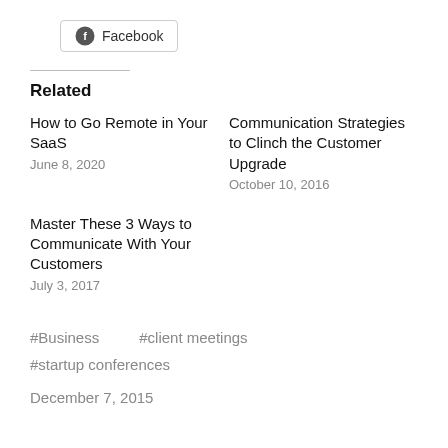[Figure (other): Facebook share button with Facebook logo icon]
Related
How to Go Remote in Your SaaS
June 8, 2020
Communication Strategies to Clinch the Customer Upgrade
October 10, 2016
Master These 3 Ways to Communicate With Your Customers
July 3, 2017
#Business   #client meetings
#startup conferences
December 7, 2015